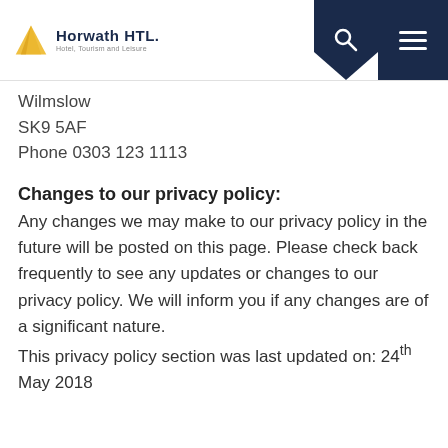Horwath HTL — Hotel, Tourism and Leisure
Wilmslow
SK9 5AF
Phone 0303 123 1113
Changes to our privacy policy:
Any changes we may make to our privacy policy in the future will be posted on this page. Please check back frequently to see any updates or changes to our privacy policy. We will inform you if any changes are of a significant nature.
This privacy policy section was last updated on: 24th May 2018